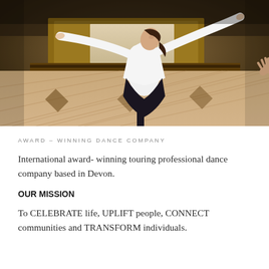[Figure (photo): A young dancer in a white long-sleeve top and dark skirt stands with arms outstretched in an expressive pose inside what appears to be a grand church or cathedral interior with ornate marble flooring and wooden furnishings. Another person's hands are visible at the right edge.]
AWARD – WINNING DANCE COMPANY
International award- winning touring professional dance company based in Devon.
OUR MISSION
To CELEBRATE life, UPLIFT people, CONNECT communities and TRANSFORM individuals.